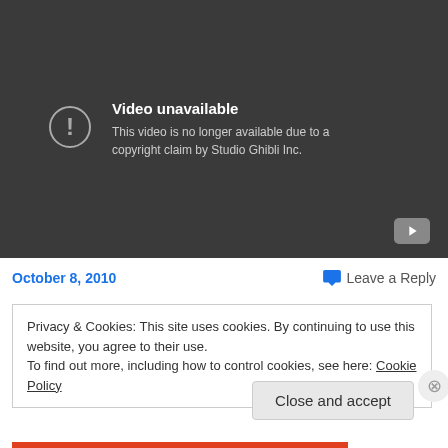[Figure (screenshot): YouTube video unavailable message on dark background. Shows an exclamation icon in a circle with text 'Video unavailable' and 'This video is no longer available due to a copyright claim by Studio Ghibli Inc.' A YouTube play button icon appears in the bottom right corner.]
October 8, 2010
Leave a Reply
Privacy & Cookies: This site uses cookies. By continuing to use this website, you agree to their use.
To find out more, including how to control cookies, see here: Cookie Policy
Close and accept